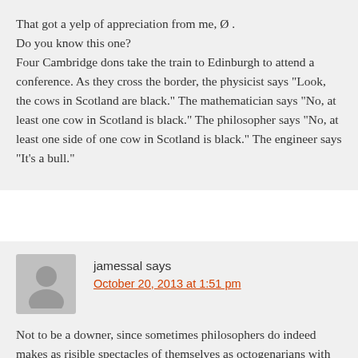That got a yelp of appreciation from me, Ø .
Do you know this one?
Four Cambridge dons take the train to Edinburgh to attend a conference. As they cross the border, the physicist says “Look, the cows in Scotland are black.” The mathematician says “No, at least one cow in Scotland is black.” The philosopher says “No, at least one side of one cow in Scotland is black.” The engineer says “It’s a bull.”
jamessal says
October 20, 2013 at 1:51 pm
Not to be a downer, since sometimes philosophers do indeed makes as risible spectacles of themselves as octogenarians with glabrous domes and hirsute bellies playing Twister, and also since there isn’t much in this